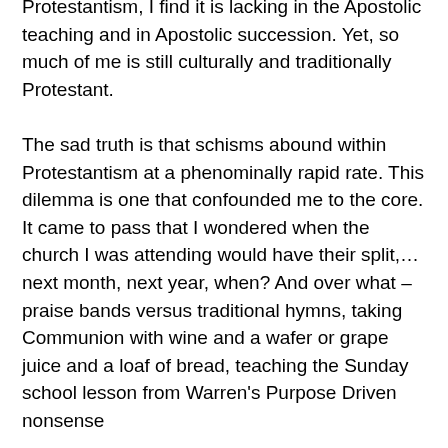teachings and zeal of its founder is nearly impossible! No matter what the listing under Protestantism, I find it is lacking in the Apostolic teaching and in Apostolic succession. Yet, so much of me is still culturally and traditionally Protestant.
The sad truth is that schisms abound within Protestantism at a phenominally rapid rate. This dilemma is one that confounded me to the core. It came to pass that I wondered when the church I was attending would have their split,…next month, next year, when? And over what – praise bands versus traditional hymns, taking Communion with wine and a wafer or grape juice and a loaf of bread, teaching the Sunday school lesson from Warren's Purpose Driven nonsense